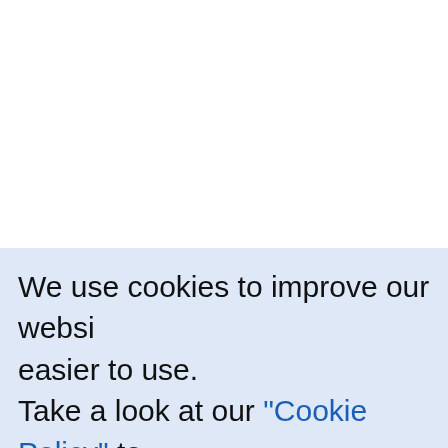|  | Product | Description |
| --- | --- | --- |
|  |  | 4051 Steel for Machine Structures as well as to other standards and… |
|  | Alloy Steel Pipe for Machine Structures | These products normally conform to Alloy Steel Tubes for Machine Structures but we also manufacture such products using materials that conform to 4053 Low-Alloyed Steels for Machine Use, as well as to other standards and specifications. |
|  | ERW Carbon Steel Pipe for Machine Structures | These products are manufactured to JIS 3472 Electric Resistance Welded Steel Tubes for Automobile Structures… |
|  | High-Strength Steel Pipe for Machine Structures | These steel pipe products, developed as ERW steel pipe, and seamless steel pipe. |
We use cookies to improve our website and make it easier to use. Take a look at our "Cookie Policy" to find out more. Click the "Agree" if you agree to allow us to use cookies when visiting the website. Otherwise, click "Set Cookie Preferences" to set your preferences.